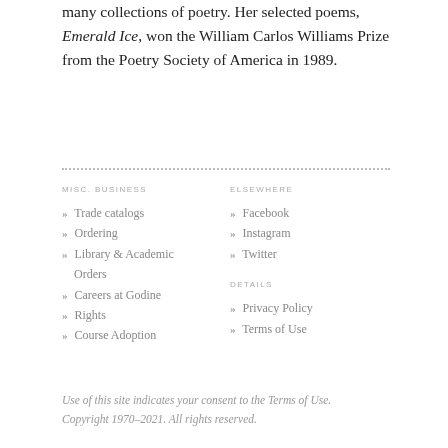many collections of poetry. Her selected poems, Emerald Ice, won the William Carlos Williams Prize from the Poetry Society of America in 1989.
» Trade catalogs
» Ordering
» Library & Academic Orders
» Careers at Godine
» Rights
» Course Adoption
» Facebook
» Instagram
» Twitter
» Privacy Policy
» Terms of Use
Use of this site indicates your consent to the Terms of Use. Copyright 1970–2021. All rights reserved.